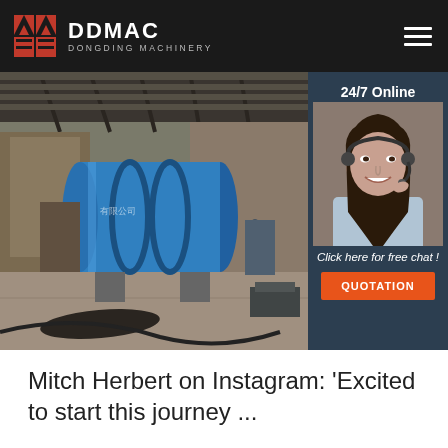DDMAC DONGDING MACHINERY
[Figure (photo): Industrial facility interior showing a large blue cylindrical rotary drum/dryer machine on support stands inside a steel-frame warehouse building. A chat widget overlay shows a female customer service agent wearing a headset with '24/7 Online' label, 'Click here for free chat!' text, and an orange QUOTATION button.]
Mitch Herbert on Instagram: 'Excited to start this journey ...